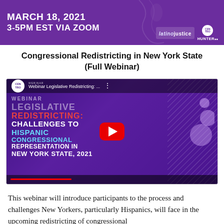[Figure (other): Purple banner with white bold text reading MARCH 18, 2021 / 3-5PM EST VIA ZOOM with LatinoJustice and Centro Hunter logos on the right]
Congressional Redistricting in New York State (Full Webinar)
[Figure (screenshot): YouTube video thumbnail showing a webinar titled 'Webinar Legislative Redistricting: ...' with Centro logo. The video slide reads: LEGISLATIVE REDISTRICTING: CHALLENGES TO HISPANIC CONGRESSIONAL REPRESENTATION IN NEW YORK STATE, 2021 on a purple background with decorative circles. A red YouTube play button is visible in the center.]
This webinar will introduce participants to the process and challenges New Yorkers, particularly Hispanics, will face in the upcoming redistricting of congressional